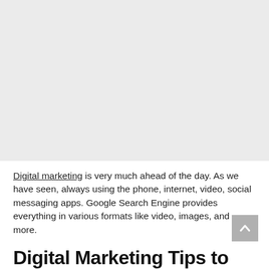[Figure (other): Large gray rectangular image placeholder area occupying the top portion of the page]
Digital marketing is very much ahead of the day. As we have seen, always using the phone, internet, video, social messaging apps. Google Search Engine provides everything in various formats like video, images, and more.
Digital Marketing Tips to